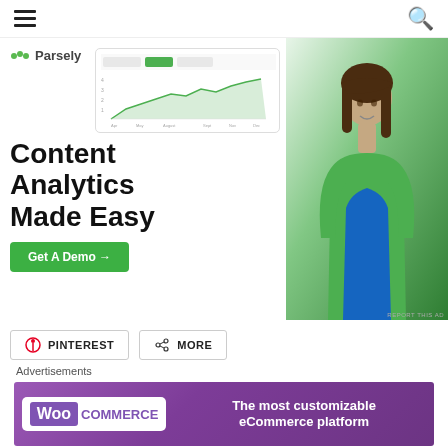Navigation bar with hamburger menu and search icon
[Figure (advertisement): Parsely content analytics advertisement showing a line chart mockup, a smiling woman in a green top, headline 'Content Analytics Made Easy', and a green 'Get A Demo →' CTA button. Small 'REPORT THIS AD' link at bottom right.]
PINTEREST
MORE
Advertisements
[Figure (advertisement): WooCommerce banner ad with purple gradient background. Left side shows WooCommerce logo (W icon in purple box with 'COMMERCE' text). Right side says 'The most customizable eCommerce platform' in white text.]